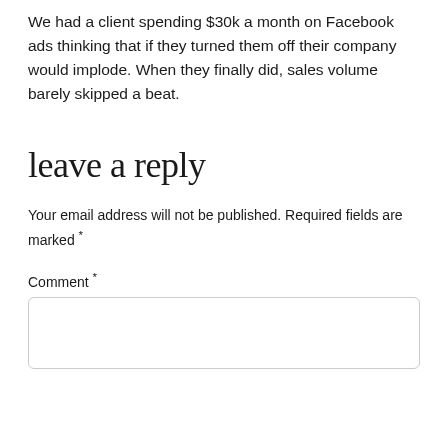We had a client spending $30k a month on Facebook ads thinking that if they turned them off their company would implode. When they finally did, sales volume barely skipped a beat.
leave a reply
Your email address will not be published. Required fields are marked *
Comment *